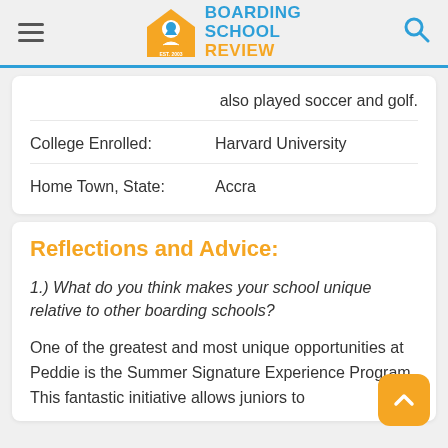Boarding School Review
also played soccer and golf.
| College Enrolled: | Harvard University |
| Home Town, State: | Accra |
Reflections and Advice:
1.) What do you think makes your school unique relative to other boarding schools?
One of the greatest and most unique opportunities at Peddie is the Summer Signature Experience Program. This fantastic initiative allows juniors to